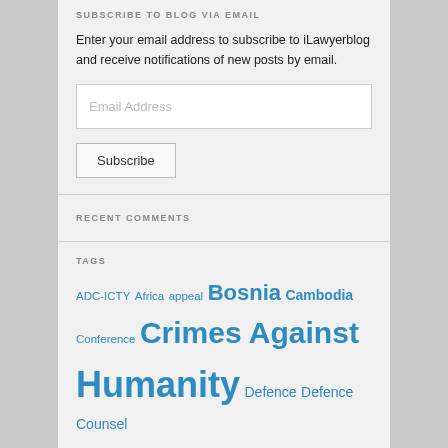SUBSCRIBE TO BLOG VIA EMAIL
Enter your email address to subscribe to iLawyerblog and receive notifications of new posts by email.
Email Address
Subscribe
RECENT COMMENTS
TAGS
ADC-ICTY Africa appeal Bosnia Cambodia Conference Crimes Against Humanity Defence Defence Counsel ECCC Fair Trial Gaza Genocide Guatemala HRPP Human Rights ICC ICTY